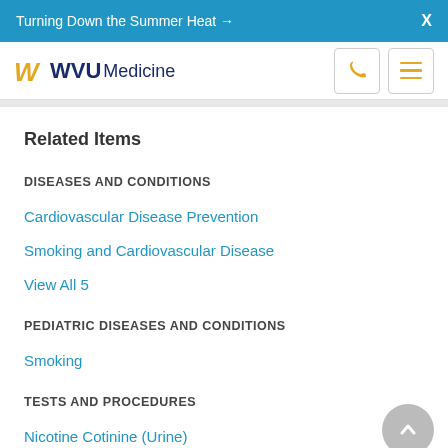Turning Down the Summer Heat →  X
WVU Medicine
Related Items
DISEASES AND CONDITIONS
Cardiovascular Disease Prevention
Smoking and Cardiovascular Disease
View All 5
PEDIATRIC DISEASES AND CONDITIONS
Smoking
TESTS AND PROCEDURES
Nicotine Cotinine (Urine)